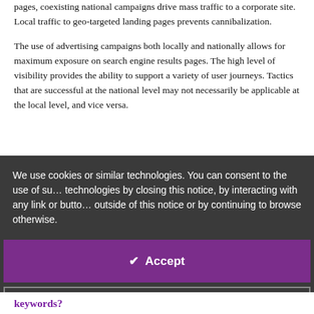pages, coexisting national campaigns drive mass traffic to a corporate site. Local traffic to geo-targeted landing pages prevents cannibalization.
The use of advertising campaigns both locally and nationally allows for maximum exposure on search engine results pages. The high level of visibility provides the ability to support a variety of user journeys. Tactics that are successful at the national level may not necessarily be applicable at the local level, and vice versa.
We use cookies or similar technologies. You can consent to the use of such technologies by closing this notice, by interacting with any link or button outside of this notice or by continuing to browse otherwise.
✓ Accept
Reject ✕
Read more →
keywords?